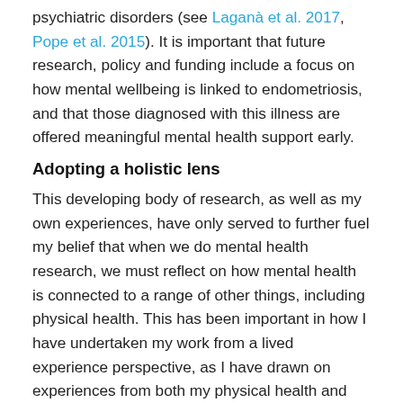psychiatric disorders (see Laganà et al. 2017, Pope et al. 2015). It is important that future research, policy and funding include a focus on how mental wellbeing is linked to endometriosis, and that those diagnosed with this illness are offered meaningful mental health support early.
Adopting a holistic lens
This developing body of research, as well as my own experiences, have only served to further fuel my belief that when we do mental health research, we must reflect on how mental health is connected to a range of other things, including physical health. This has been important in how I have undertaken my work from a lived experience perspective, as I have drawn on experiences from both my physical health and mental health journeys, as well as the nexus of where these have intertwined. It has helped me consider mental health through a more holistic lens and encouraged my research to reflect on experiential